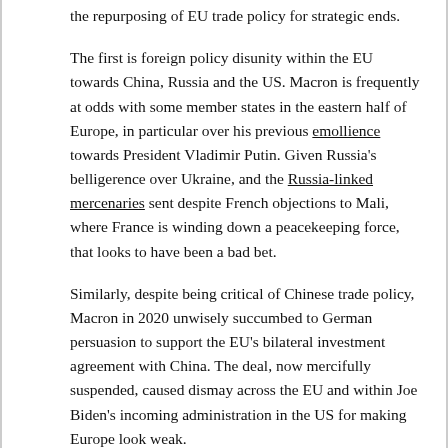the repurposing of EU trade policy for strategic ends.
The first is foreign policy disunity within the EU towards China, Russia and the US. Macron is frequently at odds with some member states in the eastern half of Europe, in particular over his previous emollience towards President Vladimir Putin. Given Russia's belligerence over Ukraine, and the Russia-linked mercenaries sent despite French objections to Mali, where France is winding down a peacekeeping force, that looks to have been a bad bet.
Similarly, despite being critical of Chinese trade policy, Macron in 2020 unwisely succumbed to German persuasion to support the EU's bilateral investment agreement with China. The deal, now mercifully suspended, caused dismay across the EU and within Joe Biden's incoming administration in the US for making Europe look weak.
Indeed, Macron's sceptical attitude to the US suggests he is overly animated by French interests, particularly the Aukus